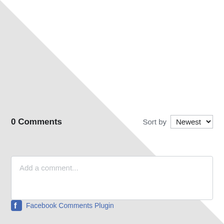[Figure (other): Diagonal white-to-light-gray background split across the upper portion of the page]
0 Comments
Sort by Newest
Add a comment...
Facebook Comments Plugin